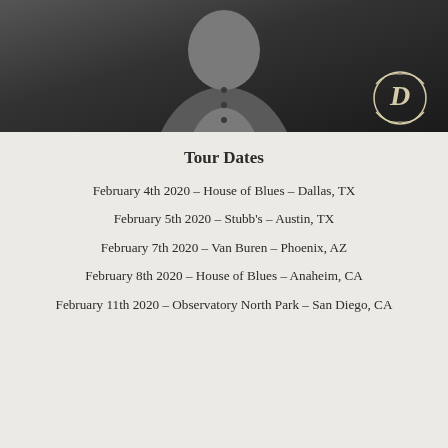[Figure (photo): Black and white photo of a person wearing a denim jacket over a grey t-shirt, with a decorative monogram logo mark in the lower right corner]
Tour Dates
February 4th 2020 – House of Blues – Dallas, TX
February 5th 2020 – Stubb's – Austin, TX
February 7th 2020 – Van Buren – Phoenix, AZ
February 8th 2020 – House of Blues – Anaheim, CA
February 11th 2020 – Observatory North Park – San Diego, CA